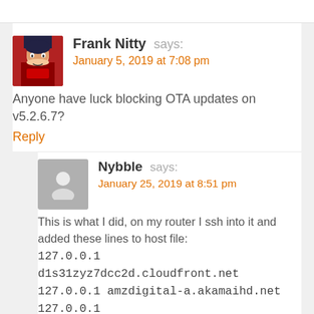Frank Nitty says:
January 5, 2019 at 7:08 pm
Anyone have luck blocking OTA updates on v5.2.6.7?
Reply
Nybble says:
January 25, 2019 at 8:51 pm
This is what I did, on my router I ssh into it and added these lines to host file:
127.0.0.1 d1s31zyz7dcc2d.cloudfront.net
127.0.0.1 amzdigital-a.akamaihd.net
127.0.0.1 amzdigitaldownloads.edgesuite.net
127.0.0.1 softwareupdates.amazon.com
127.0.0.1 updates.amazon.com
the host file is located on /jffs/configs/hosts.add
create file if doesn't exist then restart the services with this command:
service restart dnsmasq